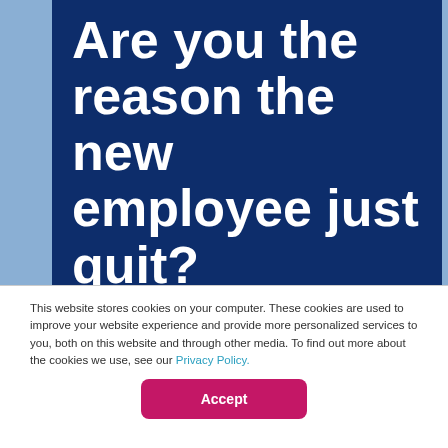Are you the reason the new employee just quit?
[Figure (illustration): Accessibility icon: person in wheelchair, white on dark navy circle background]
This website stores cookies on your computer. These cookies are used to improve your website experience and provide more personalized services to you, both on this website and through other media. To find out more about the cookies we use, see our Privacy Policy.
Accept